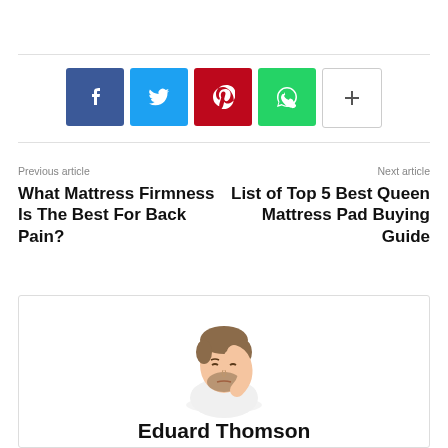[Figure (infographic): Social sharing buttons: Facebook (blue), Twitter (cyan), Pinterest (red), WhatsApp (green), More (white with plus sign)]
Previous article
What Mattress Firmness Is The Best For Back Pain?
Next article
List of Top 5 Best Queen Mattress Pad Buying Guide
[Figure (photo): A man in a white shirt resting his head on his hand, looking tired or thoughtful]
Eduard Thomson